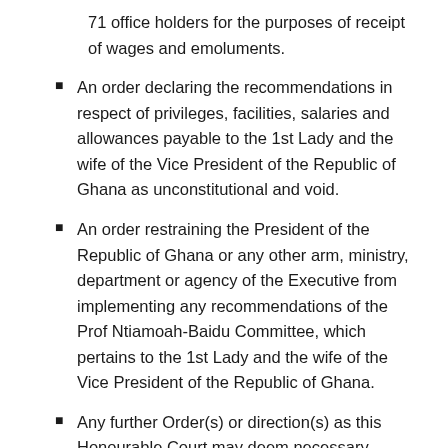71 office holders for the purposes of receipt of wages and emoluments.
An order declaring the recommendations in respect of privileges, facilities, salaries and allowances payable to the 1st Lady and the wife of the Vice President of the Republic of Ghana as unconstitutional and void.
An order restraining the President of the Republic of Ghana or any other arm, ministry, department or agency of the Executive from implementing any recommendations of the Prof Ntiamoah-Baidu Committee, which pertains to the 1st Lady and the wife of the Vice President of the Republic of Ghana.
Any further Order(s) or direction(s) as this Honourable Court may deem necessary.
The Emolument Committee task